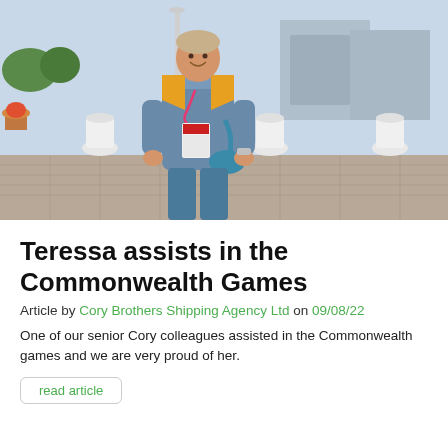[Figure (photo): A woman wearing a blue and yellow Commonwealth Games uniform polo shirt with a lanyard and accreditation badge, carrying a blue shoulder bag, smiling outdoors near a plaza with white bollards and modern buildings in the background.]
Teressa assists in the Commonwealth Games
Article by Cory Brothers Shipping Agency Ltd on 09/08/22
One of our senior Cory colleagues assisted in the Commonwealth games and we are very proud of her.
read article